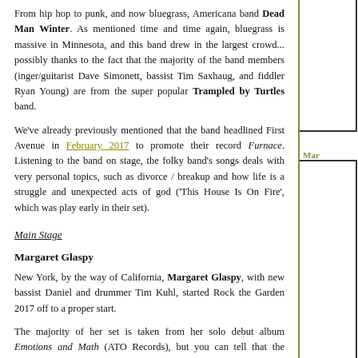From hip hop to punk, and now bluegrass, Americana band Dead Man Winter. As mentioned time and time again, bluegrass is massive in Minnesota, and this band drew in the largest crowd... possibly thanks to the fact that the majority of the band members (inger/guitarist Dave Simonett, bassist Tim Saxhaug, and fiddler Ryan Young) are from the super popular Trampled by Turtles band.
We've already previously mentioned that the band headlined First Avenue in February 2017 to promote their record Furnace. Listening to the band on stage, the folky band's songs deals with very personal topics, such as divorce / breakup and how life is a struggle and unexpected acts of god ('This House Is On Fire', which was play early in their set).
Main Stage
Margaret Glaspy
New York, by the way of California, Margaret Glaspy, with new bassist Daniel and drummer Tim Kuhl, started Rock the Garden 2017 off to a proper start.
The majority of her set is taken from her solo debut album Emotions and Math (ATO Records), but you can tell that the former The Fundies singer was hard at work writing new songs. She played two of them near the end of her set, the latter of the two had some of the best lyrics, "I'm not your father, I'm not your mother. I'm not your sister trying to waste your time. I'm not the tax man."